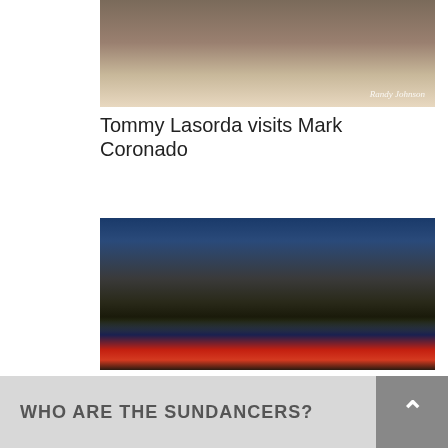[Figure (photo): Close-up photo of people seated, with a watermark reading 'Randy Johnson' in the bottom right corner]
Tommy Lasorda visits Mark Coronado
[Figure (photo): Group of people standing on a baseball field at night in front of a large logo on the grass, at an Arizona Instructional League or similar event]
Presentation to Royals and Rangers a plaque celebrating $1 Million in donations
WHO ARE THE SUNDANCERS?